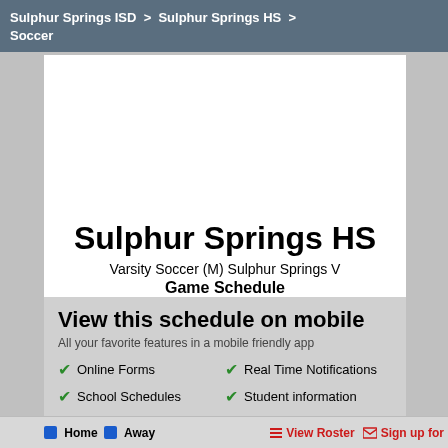Sulphur Springs ISD  >  Sulphur Springs HS  >  Soccer
Sulphur Springs HS
Varsity Soccer (M) Sulphur Springs V
Game Schedule
View this schedule on mobile
All your favorite features in a mobile friendly app
Online Forms
Real Time Notifications
School Schedules
Student information
Download the app now
Home  Away  View Roster  Sign up for